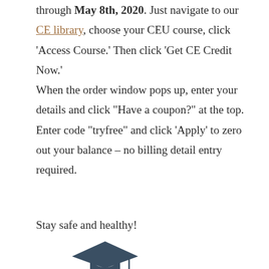through May 8th, 2020. Just navigate to our CE library, choose your CEU course, click 'Access Course.' Then click 'Get CE Credit Now.' When the order window pops up, enter your details and click "Have a coupon?" at the top. Enter code "tryfree" and click 'Apply' to zero out your balance – no billing detail entry required.
Stay safe and healthy!
[Figure (illustration): Graduation cap icon in dark navy/slate blue color]